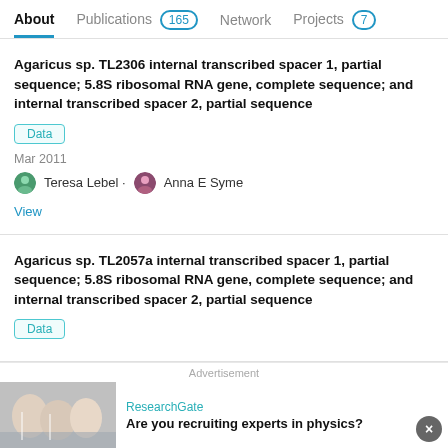About | Publications 165 | Network | Projects 7
Agaricus sp. TL2306 internal transcribed spacer 1, partial sequence; 5.8S ribosomal RNA gene, complete sequence; and internal transcribed spacer 2, partial sequence
Data
Mar 2011
Teresa Lebel · Anna E Syme
View
Agaricus sp. TL2057a internal transcribed spacer 1, partial sequence; 5.8S ribosomal RNA gene, complete sequence; and internal transcribed spacer 2, partial sequence
Data
Advertisement
ResearchGate
Are you recruiting experts in physics?